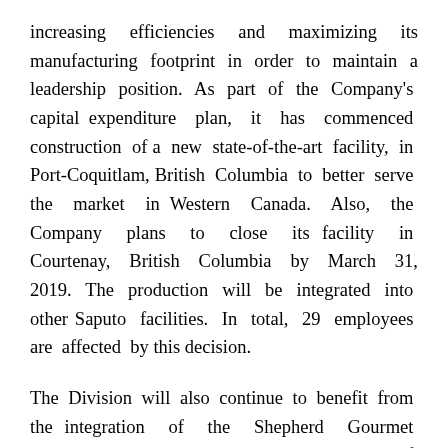increasing efficiencies and maximizing its manufacturing footprint in order to maintain a leadership position. As part of the Company's capital expenditure plan, it has commenced construction of a new state-of-the-art facility, in Port-Coquitlam, British Columbia to better serve the market in Western Canada. Also, the Company plans to close its facility in Courtenay, British Columbia by March 31, 2019. The production will be integrated into other Saputo facilities. In total, 29 employees are affected by this decision.
The Division will also continue to benefit from the integration of the Shepherd Gourmet Acquisition completed in the third quarter of this fiscal year, which enables the Dairy Division (Canada) to increase its presence in specialty cheeses and yogurts in